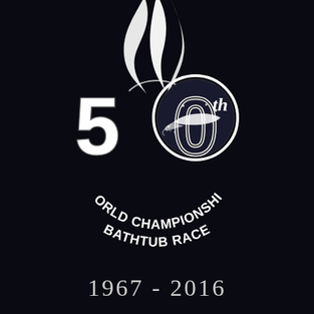[Figure (logo): 50th World Championship Bathtub Race logo on black background. Top portion shows white flame/wave graphic. Center shows large '50th' numerals with a speedboat/bathtub racer illustration inside the zero. Below in curved text: 'WORLD CHAMPIONSHIP BATHTUB RACE']
1967 - 2016